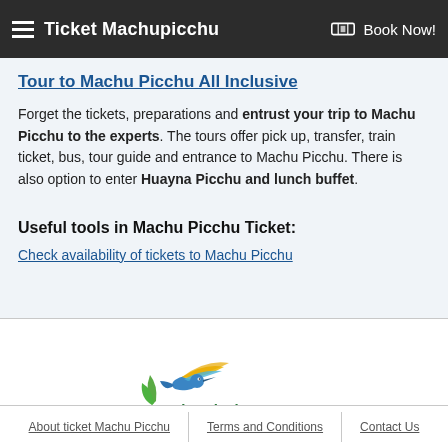Ticket Machupicchu  Book Now!
Tour to Machu Picchu All Inclusive
Forget the tickets, preparations and entrust your trip to Machu Picchu to the experts. The tours offer pick up, transfer, train ticket, bus, tour guide and entrance to Machu Picchu. There is also option to enter Huayna Picchu and lunch buffet.
Useful tools in Machu Picchu Ticket:
Check availability of tickets to Machu Picchu
[Figure (logo): Machu Picchu Terra logo with hummingbird graphic in green, blue and yellow, and text 'Machu Picchu Terra']
About ticket Machu Picchu  |  Terms and Conditions  |  Contact Us